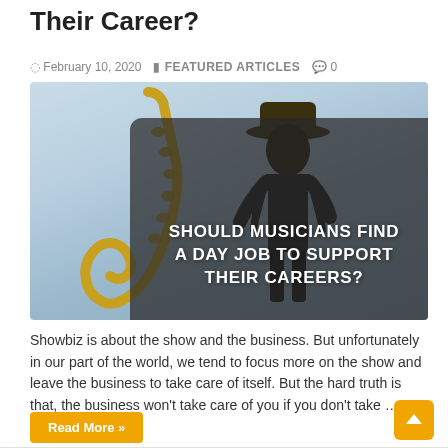Their Career?
February 10, 2020   FEATURED ARTICLES   0
[Figure (photo): A musician holding a saxophone, wearing a hat, with overlay text reading 'SHOULD MUSICIANS FIND A DAY JOB TO SUPPORT THEIR CAREERS?']
Showbiz is about the show and the business. But unfortunately in our part of the world, we tend to focus more on the show and leave the business to take care of itself. But the hard truth is that, the business won't take care of you if you don't take …
Read More »